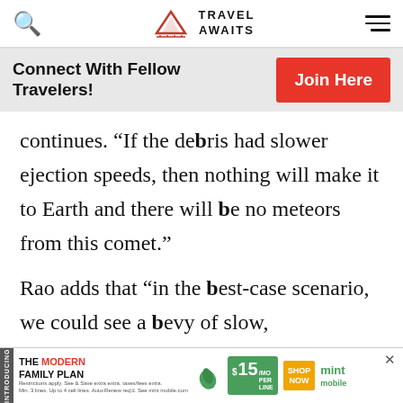Travel Awaits
Connect With Fellow Travelers!
continues. “If the debris had slower ejection speeds, then nothing will make it to Earth and there will be no meteors from this comet.”
Rao adds that “in the best-case scenario, we could see a bevy of slow, brig… idy
[Figure (screenshot): Mint Mobile advertisement banner: THE MODERN FAMILY PLAN $15/MO PER LINE SHOP NOW]